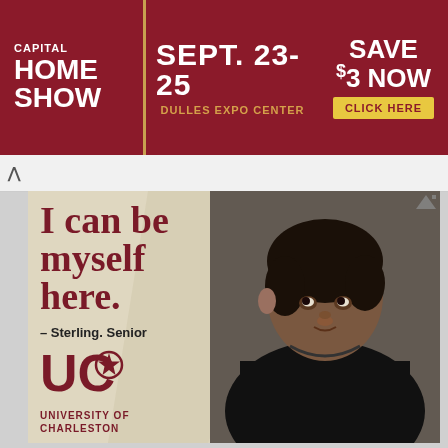[Figure (infographic): Capital Home Show banner advertisement: dark red background with white bold text 'CAPITAL HOME SHOW', center shows 'SEPT. 23-25 DULLES EXPO CENTER' in white, right side shows 'SAVE $3 NOW CLICK HERE' button in yellow]
[Figure (infographic): University of Charleston advertisement showing a young Black man in a black t-shirt leaning against a wall, with text 'I can be myself here.' in dark red on a cream/diagonal background, attribution '– Sterling. Senior', and University of Charleston logo (UC with star) at bottom left]